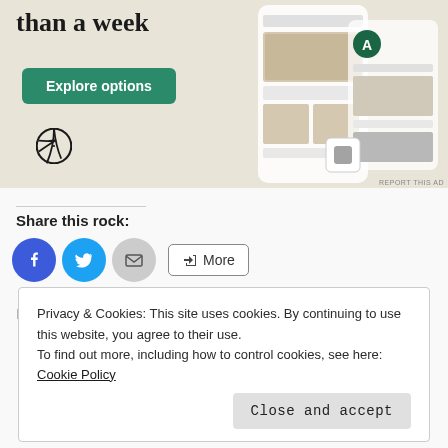[Figure (screenshot): WordPress.com advertisement banner showing 'than a week' text, 'Explore options' green button, WordPress logo, and phone mockup showing food blog website]
Share this rock:
[Figure (infographic): Share buttons row: Facebook (blue circle), Twitter (blue circle), Email (grey circle), More (outlined button with share icon)]
Loading...
Privacy & Cookies: This site uses cookies. By continuing to use this website, you agree to their use.
To find out more, including how to control cookies, see here: Cookie Policy
Close and accept